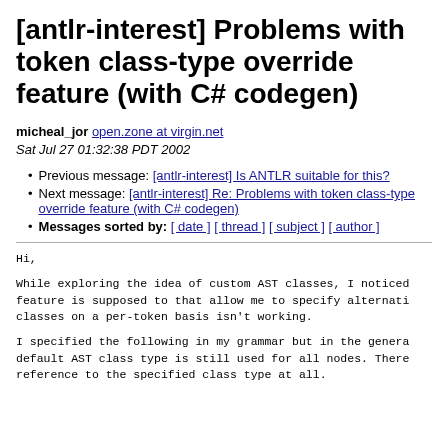[antlr-interest] Problems with token class-type override feature (with C# codegen)
micheal_jor open.zone at virgin.net
Sat Jul 27 01:32:38 PDT 2002
Previous message: [antlr-interest] Is ANTLR suitable for this?
Next message: [antlr-interest] Re: Problems with token class-type override feature (with C# codegen)
Messages sorted by: [ date ] [ thread ] [ subject ] [ author ]
Hi,
While exploring the idea of custom AST classes, I noticed
feature is supposed to that allow me to specify alternati
classes on a per-token basis isn't working.
I specified the following in my grammar but in the genera
default AST class type is still used for all nodes. There
reference to the specified class type at all.